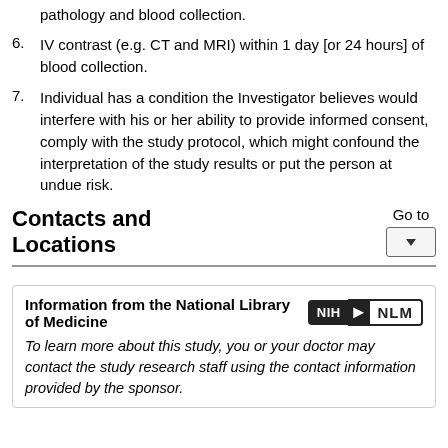pathology and blood collection.
6. IV contrast (e.g. CT and MRI) within 1 day [or 24 hours] of blood collection.
7. Individual has a condition the Investigator believes would interfere with his or her ability to provide informed consent, comply with the study protocol, which might confound the interpretation of the study results or put the person at undue risk.
Contacts and Locations
Go to
Information from the National Library of Medicine
To learn more about this study, you or your doctor may contact the study research staff using the contact information provided by the sponsor.